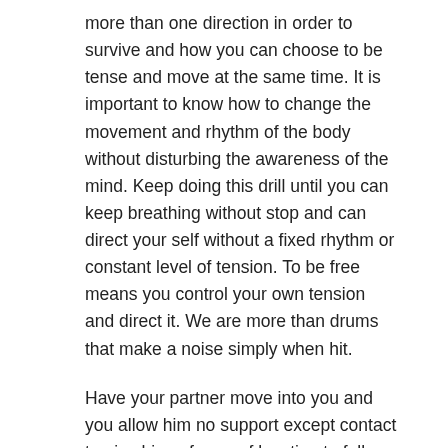more than one direction in order to survive and how you can choose to be tense and move at the same time. It is important to know how to change the movement and rhythm of the body without disturbing the awareness of the mind. Keep doing this drill until you can keep breathing without stop and can direct your self without a fixed rhythm or constant level of tension. To be free means you control your own tension and direct it. We are more than drums that make a noise simply when hit.
Have your partner move into you and you allow him no support except contact to give him a frame of location to follow. First move very slowly paying attention to yourself and where you wish to be and slowly relax your body and eyes and allow the breath to release the tension the partner is moving toward you and give him just enough contact so he spreads himself and has no aggression or tension to feed and work with.